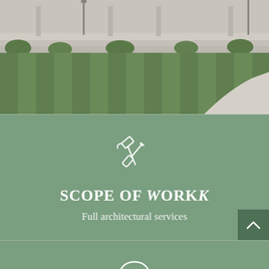[Figure (photo): Photograph of a government or institutional building with well-manicured lawn showing mowing stripes in green grass, stone steps and columns visible in background]
[Figure (illustration): White outline icon of crossed hammer and screwdriver/wrench tools on sage green background]
Scope of Work
Full architectural services
[Figure (illustration): White outline location pin / map marker icon on sage green background, partially visible at bottom of page]